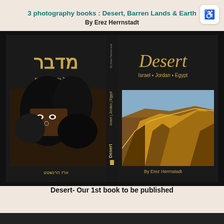3 photography books : Desert, Barren Lands & Earth
By Erez Herrnstadt
[Figure (photo): Book cover spread showing Hebrew title 'מדבר' (Desert) on left and English 'Desert Israel | Jordan | Egypt' on right with spine in center. Left cover shows a veiled Bedouin woman's eyes; right cover shows golden sand dunes. Author name shown in Hebrew and English.]
Desert- Our 1st book to be published